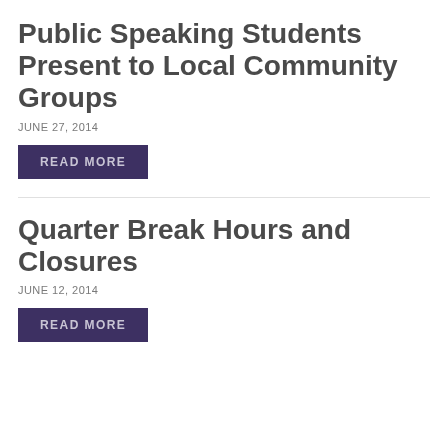Public Speaking Students Present to Local Community Groups
JUNE 27, 2014
READ MORE
Quarter Break Hours and Closures
JUNE 12, 2014
READ MORE